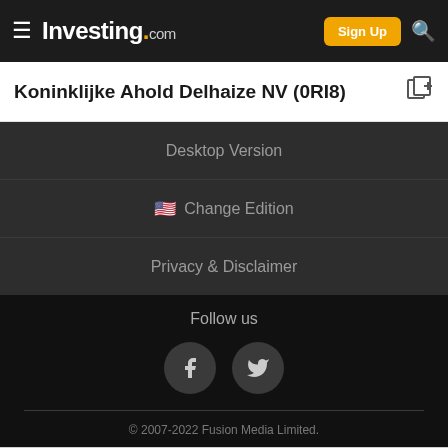Investing.com — Sign Up
Koninklijke Ahold Delhaize NV (0RI8)
Desktop Version
🇺🇸 Change Edition
Privacy & Disclaimer
Follow us
© 2007-2022 Fusion Media Limited.
ADVERTISEMENT
[Figure (screenshot): Advertisement banner: 'How can I invest after a market drop? Ask Mentor. magnifi']